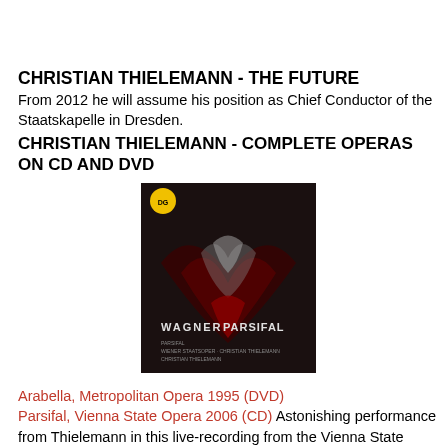CHRISTIAN THIELEMANN - THE FUTURE
From 2012 he will assume his position as Chief Conductor of the Staatskapelle in Dresden.
CHRISTIAN THIELEMANN - COMPLETE OPERAS ON CD AND DVD
[Figure (photo): Album cover for Wagner Parsifal conducted by Thielemann, dark background with stylized bird/eagle imagery and text 'WAGNER PARSIFAL']
Arabella, Metropolitan Opera 1995 (DVD)
Parsifal, Vienna State Opera 2006 (CD) Astonishing performance from Thielemann in this live-recording from the Vienna State Opera. The beauty is ethereal and for many, this is the finest recorded Parsifal in history.
Tristan and Isolde, Vienna State Opera 2004 (CD)
Vienna State Opera Gala concert (2006 - on DVD)